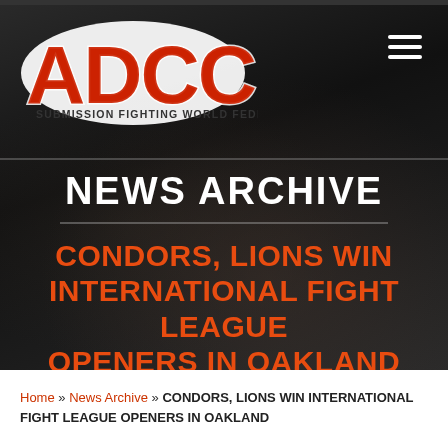[Figure (logo): ADCC Submission Fighting World Federation logo — red stylized letters ADCC with white outline on dark background, text 'SUBMISSION FIGHTING WORLD FEDERATION' below]
NEWS ARCHIVE
CONDORS, LIONS WIN INTERNATIONAL FIGHT LEAGUE OPENERS IN OAKLAND
Home » News Archive » CONDORS, LIONS WIN INTERNATIONAL FIGHT LEAGUE OPENERS IN OAKLAND